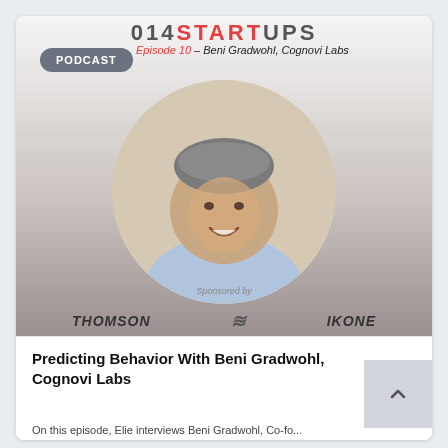[Figure (screenshot): 014Startups podcast thumbnail with circular portrait photo of Beni Gradwohl, a middle-aged man with gray hair wearing a light blue shirt, smiling. The image has a gradient background fading from white to gray. A gray 'PODCAST' badge appears top left, and italicized text reads 'Episode 10 - Beni Gradwohl, Cognovi Labs' with sponsor logos at the bottom.]
Predicting Behavior With Beni Gradwohl, Cognovi Labs